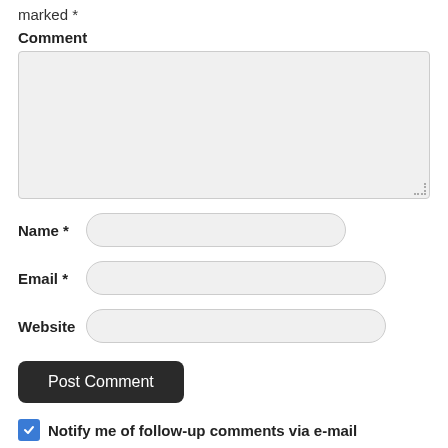marked *
Comment
[Figure (screenshot): Empty comment textarea input field with resize handle]
Name *
[Figure (screenshot): Name text input field]
Email *
[Figure (screenshot): Email text input field]
Website
[Figure (screenshot): Website text input field]
[Figure (screenshot): Post Comment button]
Notify me of follow-up comments via e-mail